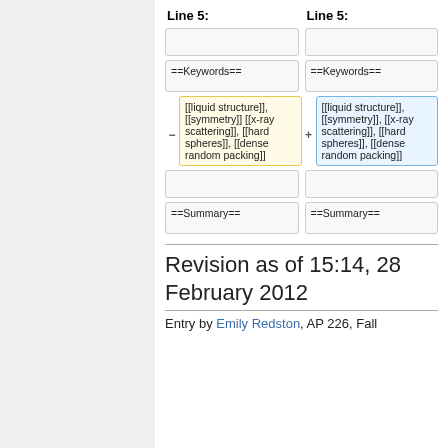| Line 5: | Line 5: |
| --- | --- |
|  |  |
| ==Keywords== | ==Keywords== |
| [[liquid structure]], [[symmetry]] [[x-ray scattering]], [[hard spheres]], [[dense random packing]] | [[liquid structure]], [[symmetry]], [[x-ray scattering]], [[hard spheres]], [[dense random packing]] |
|  |  |
| ==Summary== | ==Summary== |
Revision as of 15:14, 28 February 2012
Entry by Emily Redston, AP 226, Fall